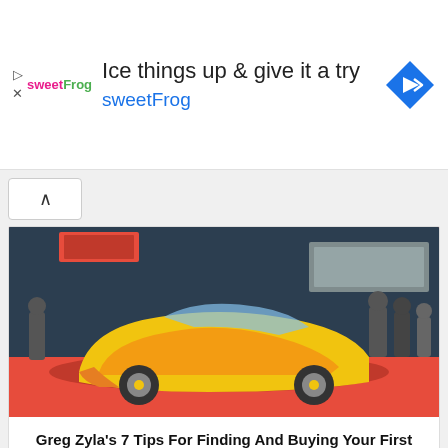[Figure (screenshot): sweetFrog advertisement banner: 'Ice things up & give it a try' with sweetFrog branding and navigation arrow icon]
[Figure (photo): Yellow classic muscle car (convertible) on red carpet at what appears to be a Mecum auction event, with people in background]
Greg Zyla's 7 Tips For Finding And Buying Your First Collector Car
[Figure (photo): Interior of a classic 1958 car showing red and chrome dashboard, red steering wheel, and elaborate chrome instrument panel]
Reader Disputes Greg Zyla's Opinion On 1958 Car